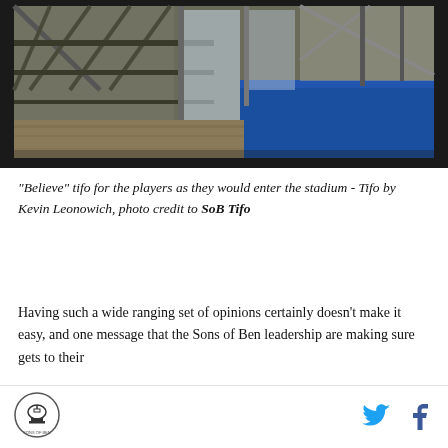[Figure (photo): Stadium interior photo showing metal scaffolding/truss structure, glass panels, and blue flooring/turf area. Black border around the photo.]
"Believe" tifo for the players as they would enter the stadium - Tifo by Kevin Leonowich, photo credit to SoB Tifo
Having such a wide ranging set of opinions certainly doesn't make it easy, and one message that the Sons of Ben leadership are making sure gets to their
[Figure (logo): Sons of Ben circular logo with liberty bell icon]
[Figure (other): Twitter bird icon and Facebook f icon in cyan/blue]